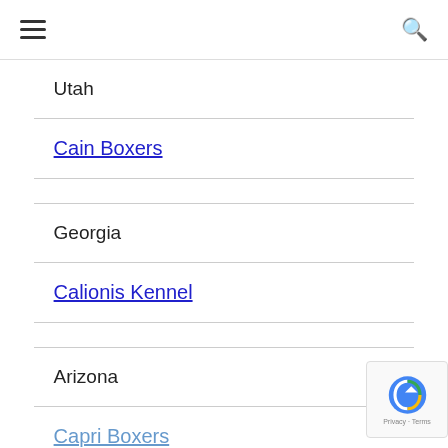[hamburger menu] [search icon]
Utah
Cain Boxers
Georgia
Calionis Kennel
Arizona
Capri Boxers